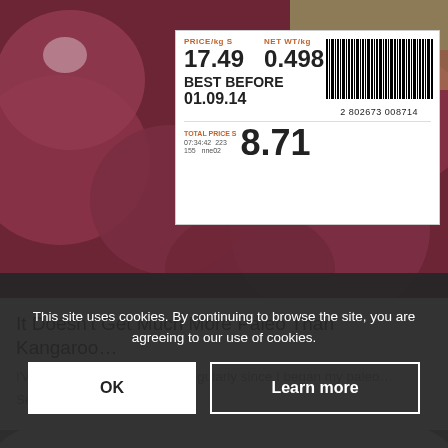[Figure (photo): Photo of red/purple fruit (kangaroo meat package) with a price label sticker showing PRICE/kg, NET WT/kg, BEST BEFORE date, barcode, and TOTAL PRICE. Label reads: PRICE/kg S 17.49, NET WT/kg 0.498, BEST BEFORE 01.09.14, barcode 2 802673 008714, TOTAL PRICE S 8.71, 07:34:42 223 155 nne02]
It Doesn't Get Much More Paleo Than Kangaroo...
I've started to eat Kangaroo regularly since I began my paleo...
September 14, 2011
This site uses cookies. By continuing to browse the site, you are agreeing to our use of cookies.